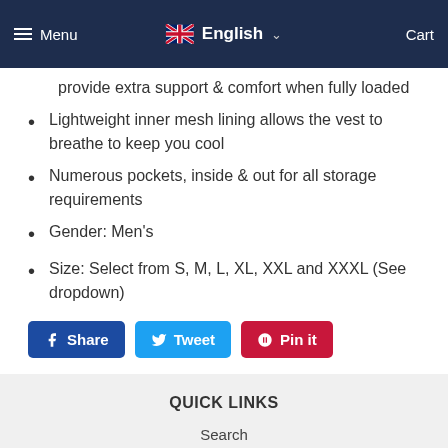Menu | English | Cart
provide extra support & comfort when fully loaded
Lightweight inner mesh lining allows the vest to breathe to keep you cool
Numerous pockets, inside & out for all storage requirements
Gender: Men's
Size: Select from S, M, L, XL, XXL and XXXL (See dropdown)
Share | Tweet | Pin it
QUICK LINKS
Search
GET IN TOUCH